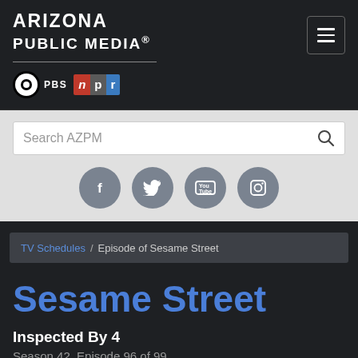[Figure (logo): Arizona Public Media logo with PBS and NPR badges, and hamburger menu button]
Search AZPM
[Figure (infographic): Social media icons: Facebook, Twitter, YouTube, Instagram]
TV Schedules / Episode of Sesame Street
Sesame Street
Inspected By 4
Season 42, Episode 96 of 99